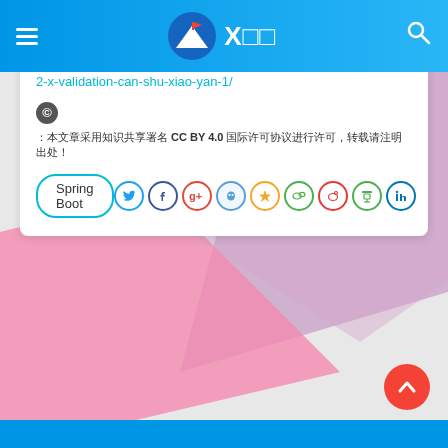≡  X□□  🔍
2-x-validation-can-shu-xiao-yan-1/
© : □□□□□□□□□□□□□□□□ CC BY 4.0 □□□□□□□□□□□□ □□□□ !
Spring Boot
[Figure (screenshot): Social sharing icons: Twitter, Facebook, Google+, QQ, star/favorite, WeChat, Weibo, Douban, LinkedIn]
[Figure (illustration): Decorative abstract background with pink and purple diagonal ribbon shapes on light gray]
[Figure (other): Red circular scroll-to-top button with white upward arrow]